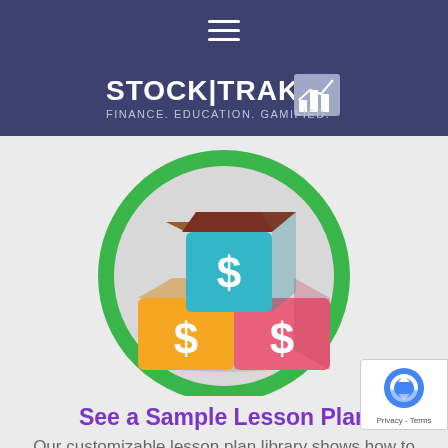≡
[Figure (logo): StockTrak logo — white text STOCK|TRAK with Finance. Education. Gamified. tagline and chart icon on dark blue background]
[Figure (illustration): Three colorful building blocks with dollar signs stacked in a pyramid, inside a green circle, on a light gray background]
See a Sample Lesson Plan
Our customizable lesson plan library shows how to